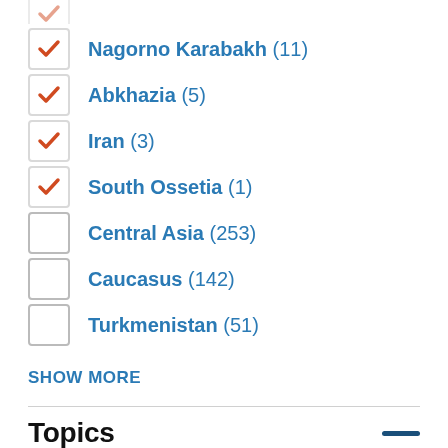Nagorno Karabakh (11)
Abkhazia (5)
Iran (3)
South Ossetia (1)
Central Asia (253)
Caucasus (142)
Turkmenistan (51)
SHOW MORE
Topics
Coronavirus (123)
Politics (87)